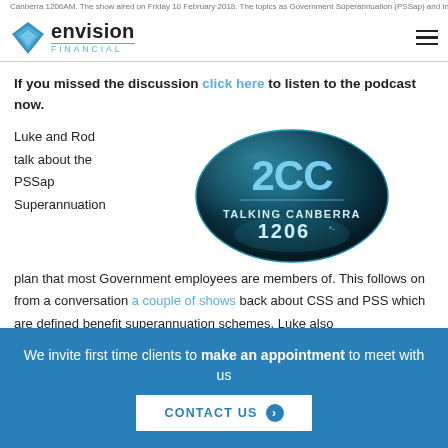Canberra 1206AM. The show aired on Friday 10 February 2018. The topics as Government Superannuation (PSSap) and Insurance.
[Figure (logo): Envision Financial logo with blue diamond icon, 'envision' in bold black text, 'FINANCIAL' in blue small caps with underline, and hamburger menu icon on the right]
If you missed the discussion click here to listen to the podcast now.
Luke and Rod talk about the PSSap Superannuation plan that most Government employees are members of. This follows on from a conversation a couple of shows back about CSS and PSS which are defined benefit superannuation schemes. Luke also
[Figure (logo): 2CC Talking Canberra 1206 oval logo - dark teal/black oval with '2CC' in large blue text and 'TALKING CANBERRA 1206' below]
We invite first time clients to make an appointment to meet with us
CONTACT US →